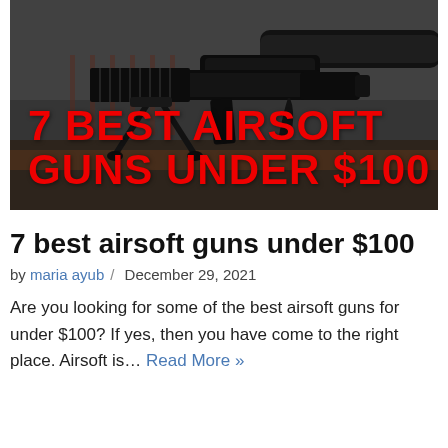[Figure (photo): Close-up photo of an airsoft rifle on a bipod stand, with a scope and suppressor, in dark grey/black tones. Text overlay reads '7 BEST AIRSOFT GUNS UNDER $100' in bold red capital letters.]
7 best airsoft guns under $100
by maria ayub / December 29, 2021
Are you looking for some of the best airsoft guns for under $100? If yes, then you have come to the right place. Airsoft is… Read More »